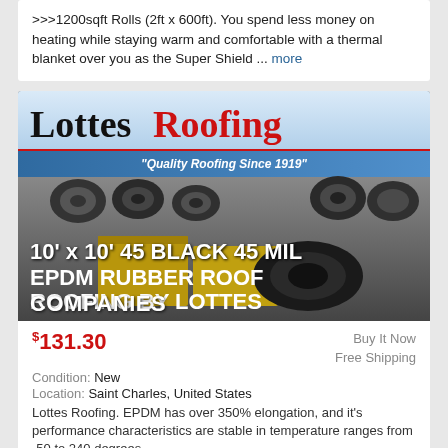>>>1200sqft Rolls (2ft x 600ft). You spend less money on heating while staying warm and comfortable with a thermal blanket over you as the Super Shield ... more
[Figure (photo): Lottes Roofing product listing image showing warehouse with rubber roofing rolls and overlay text: 10' x 10' 45 BLACK 45 MIL EPDM RUBBER ROOF ROOFING BY LOTTES COMPANIES]
$131.30  Buy It Now  Free Shipping  Condition: New  Location: Saint Charles, United States  Lottes Roofing. EPDM has over 350% elongation, and it's performance characteristics are stable in temperature ranges from -50 to 240 degrees